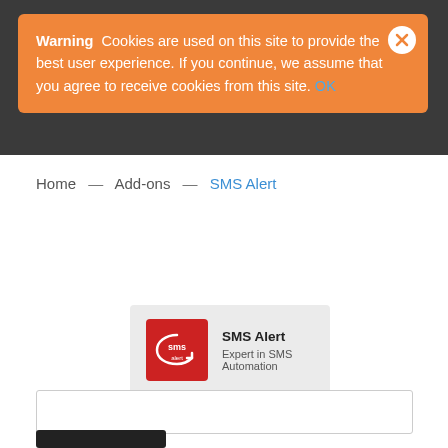Warning  Cookies are used on this site to provide the best user experience. If you continue, we assume that you agree to receive cookies from this site. OK
Home — Add-ons — SMS Alert
[Figure (screenshot): SMS Alert plugin card with red logo showing 'sms alert' text, title 'SMS Alert' and subtitle 'Expert in SMS Automation']